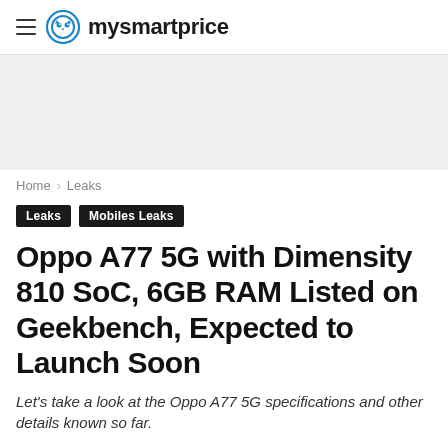mysmartprice
[Figure (other): Gray advertisement banner placeholder]
Home › Leaks
Leaks  Mobiles Leaks
Oppo A77 5G with Dimensity 810 SoC, 6GB RAM Listed on Geekbench, Expected to Launch Soon
Let's take a look at the Oppo A77 5G specifications and other details known so far.